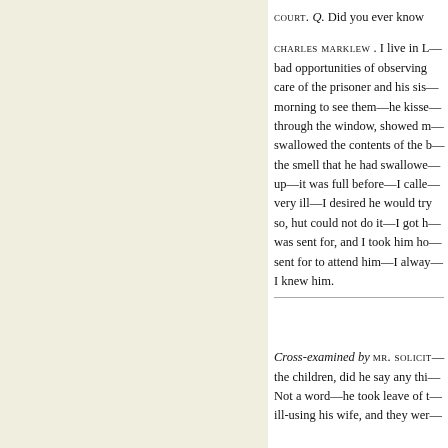COURT. Q. Did you ever know
CHARLES MARKLEW . I live in L— bad opportunities of observing care of the prisoner and his sis— morning to see them—he kisse— through the window, showed m— swallowed the contents of the b— the smell that he had swallowe— up—it was full before—I calle— very ill—I desired he would tr— so, but could not do it—I got h— was sent for, and I took him ho— sent for to attend him—I alway— I knew him.
Cross-examined by MR. SOLICIT— the children, did he say any thi— Not a word—he took leave of t— ill-using his wife, and they wer—